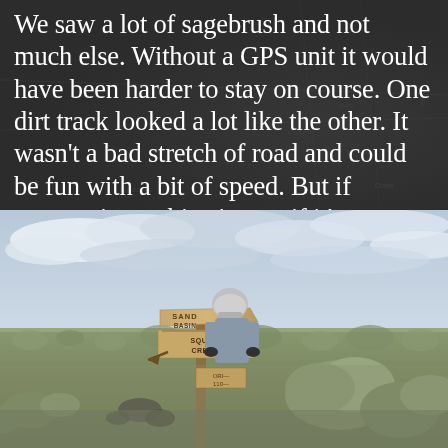We saw a lot of sagebrush and not much else. Without a GPS unit it would have been harder to stay on course. One dirt track looked a lot like the other. It wasn't a bad stretch of road and could be fun with a bit of speed. But if scenery is an objective, or if it's a sweltering day, you might consider other routes such as U.S. 95 or along Succor Creek, the way we returned home.
[Figure (photo): A motorcyclist wearing a helmet stands behind a weathered wooden directional sign post in an open sagebrush landscape. The sign reads 'SAND BASIN' and 'SQUAW CREEK' with arrows. The sky is overcast with clouds. The terrain is flat high desert with sagebrush in the foreground.]